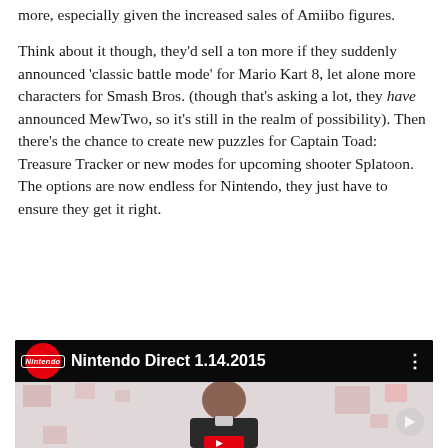more, especially given the increased sales of Amiibo figures.
Think about it though, they'd sell a ton more if they suddenly announced 'classic battle mode' for Mario Kart 8, let alone more characters for Smash Bros. (though that's asking a lot, they have announced MewTwo, so it's still in the realm of possibility). Then there's the chance to create new puzzles for Captain Toad: Treasure Tracker or new modes for upcoming shooter Splatoon. The options are now endless for Nintendo, they just have to ensure they get it right.
[Figure (screenshot): YouTube video thumbnail for 'Nintendo Direct 1.14.2015' showing the Nintendo logo (red circle with Nintendo text), the video title in white on a black bar at the top, and a person (Reggie Fils-Aimé) in front of a light pink/grey background with decorative squares.]